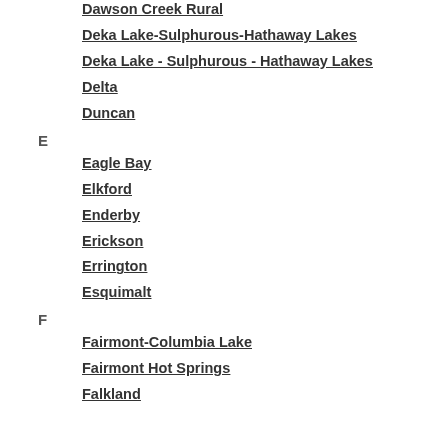Dawson Creek Rural
Deka Lake-Sulphurous-Hathaway Lakes
Deka Lake - Sulphurous - Hathaway Lakes
Delta
Duncan
E
Eagle Bay
Elkford
Enderby
Erickson
Errington
Esquimalt
F
Fairmont-Columbia Lake
Fairmont Hot Springs
Falkland